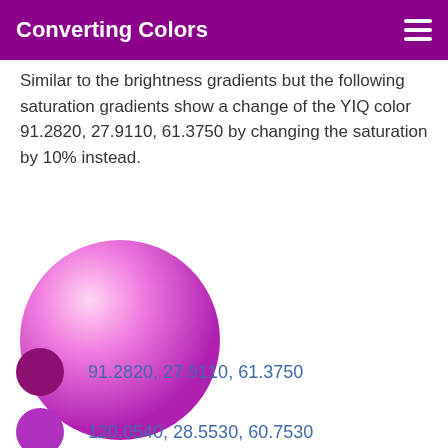Converting Colors
Similar to the brightness gradients but the following saturation gradients show a change of the YIQ color 91.2820, 27.9110, 61.3750 by changing the saturation by 10% instead.
[Figure (illustration): A large circle with a radial gradient from light pink/white at the top-left to vibrant magenta/purple at the bottom-right.]
91.2820, 27.9110, 61.3750
120.0540, 28.5530, 60.7530
148.4670, 28.8280, 61.2760